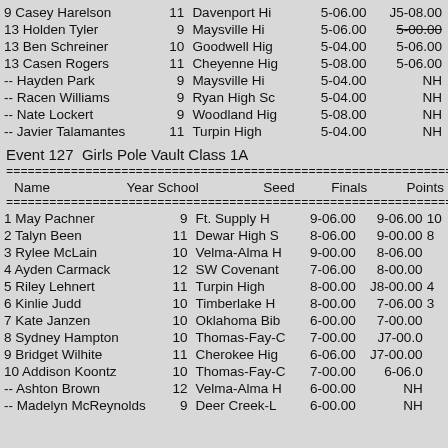| Place | Name | Year | School | Seed | Finals | Points |
| --- | --- | --- | --- | --- | --- | --- |
| 9 | Casey Harelson | 11 | Davenport Hi | 5-06.00 | J5-08.00 |  |
| 13 | Holden Tyler | 9 | Maysville Hi | 5-06.00 | 5-00.00 |  |
| 13 | Ben Schreiner | 10 | Goodwell Hig | 5-04.00 | 5-06.00 |  |
| 13 | Casen Rogers | 11 | Cheyenne Hig | 5-08.00 | 5-06.00 |  |
| -- | Hayden Park | 9 | Maysville Hi | 5-04.00 | NH |  |
| -- | Racen Williams | 9 | Ryan High Sc | 5-04.00 | NH |  |
| -- | Nate Lockert | 9 | Woodland Hig | 5-08.00 | NH |  |
| -- | Javier Talamantes | 11 | Turpin High | 5-04.00 | NH |  |
Event 127  Girls Pole Vault Class 1A
| Place | Name | Year | School | Seed | Finals | Points |
| --- | --- | --- | --- | --- | --- | --- |
| 1 | May Pachner | 9 | Ft. Supply H | 9-06.00 | 9-06.00 | 10 |
| 2 | Talyn Been | 11 | Dewar High S | 8-06.00 | 9-00.00 | 8 |
| 3 | Rylee McLain | 10 | Velma-Alma H | 9-00.00 | 8-06.00 |  |
| 4 | Ayden Carmack | 12 | SW Covenant | 7-06.00 | 8-00.00 |  |
| 5 | Riley Lehnert | 11 | Turpin High | 8-00.00 | J8-00.00 | 4 |
| 6 | Kinlie Judd | 10 | Timberlake H | 8-00.00 | 7-06.00 | 3 |
| 7 | Kate Janzen | 10 | Oklahoma Bib | 6-00.00 | 7-00.00 |  |
| 8 | Sydney Hampton | 10 | Thomas-Fay-C | 7-00.00 | J7-00.00 |  |
| 9 | Bridget Wilhite | 11 | Cherokee Hig | 6-06.00 | J7-00.00 |  |
| 10 | Addison Koontz | 10 | Thomas-Fay-C | 7-00.00 | 6-06.00 |  |
| -- | Ashton Brown | 12 | Velma-Alma H | 6-00.00 | NH |  |
| -- | Madelyn McReynolds | 9 | Deer Creek-L | 6-00.00 | NH |  |